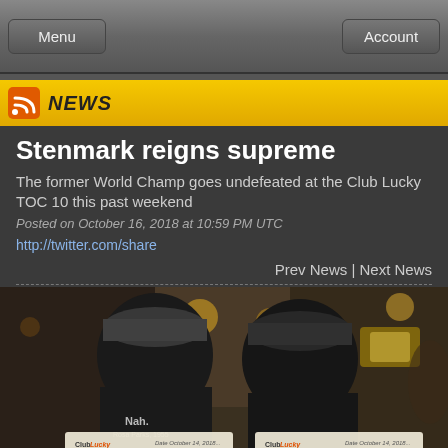Menu | Account
NEWS
Stenmark reigns supreme
The former World Champ goes undefeated at the Club Lucky TOC 10 this past weekend
Posted on October 16, 2018 at 10:59 PM UTC
http://twitter.com/share
Prev News | Next News
[Figure (photo): Two men standing side by side inside a bar/pool hall, each holding large prize checks from Club Lucky dated October 14, 2018. Left check shows $800, right check shows $6000. The man on the left wears a black shirt reading 'Nah. Rosa Parks, 1955'. Both wear baseball caps.]